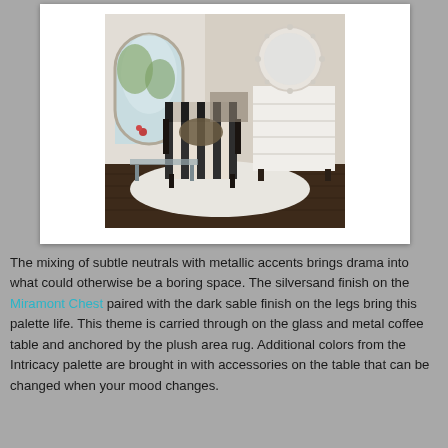[Figure (photo): Interior room photo showing a striped armchair, white chest of drawers with a decorative round mirror above it, glass and metal coffee table, white area rug on dark wood floor, and an arched window in the background.]
The mixing of subtle neutrals with metallic accents brings drama into what could otherwise be a boring space. The silversand finish on the Miramont Chest paired with the dark sable finish on the legs bring this palette life. This theme is carried through on the glass and metal coffee table and anchored by the plush area rug. Additional colors from the Intricacy palette are brought in with accessories on the table that can be changed when your mood changes.